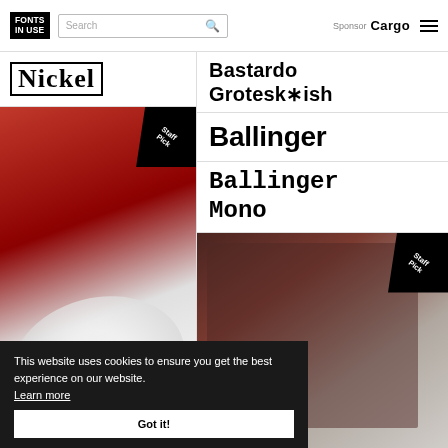FONTS IN USE | Search | Sponsor Cargo
Nickel
Bastardo Grotesk*ish
Ballinger
Ballinger Mono
[Figure (photo): Red vinyl record label detail with cursive text, Staff Pick badge in corner]
[Figure (photo): Dark leather book or notebook with embossed text reading 'Stuart', business card with contact details, Staff Pick badge in corner]
This website uses cookies to ensure you get the best experience on our website. Learn more
Got it!